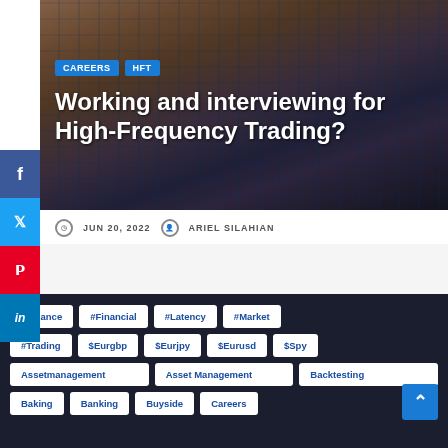[Figure (photo): Trading floor with multiple monitors and traders working]
CAREERS
HFT
Working and interviewing for High-Frequency Trading?
JUN 20, 2022   ARIEL SILAHIAN
#Finance
#Financial
#Latency
#Market
#Trading
$Eurgbp
$Eurjpy
$Eurusd
$Spy
Assetmanagement
Asset Management
Backtesting
Baking
Banking
Buyside
Careers